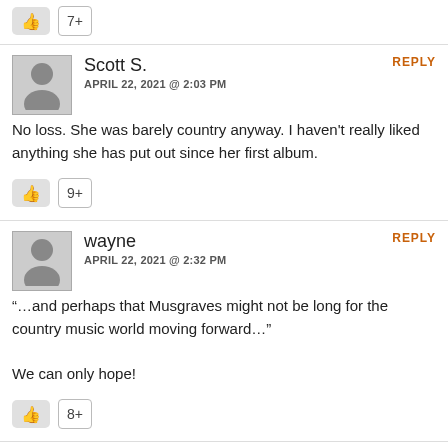7+
Scott S. — APRIL 22, 2021 @ 2:03 PM — REPLY
No loss. She was barely country anyway. I haven't really liked anything she has put out since her first album.
9+
wayne — APRIL 22, 2021 @ 2:32 PM — REPLY
“…and perhaps that Musgraves might not be long for the country music world moving forward…”

We can only hope!
8+
CountryKnight — APRIL 22, 2021 @ 2:45 PM — REPLY